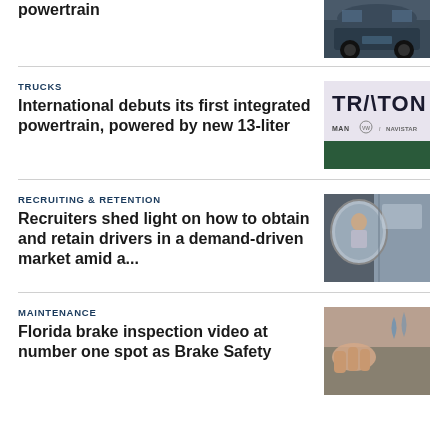powertrain
[Figure (photo): Rear view of a dark vehicle on road]
TRUCKS
International debuts its first integrated powertrain, powered by new 13-liter
[Figure (photo): TRATON logo sign with MAN, Volkswagen, and Navistar logos]
RECRUITING & RETENTION
Recruiters shed light on how to obtain and retain drivers in a demand-driven market amid a...
[Figure (photo): Truck side mirror with driver reflection]
MAINTENANCE
Florida brake inspection video at number one spot as Brake Safety